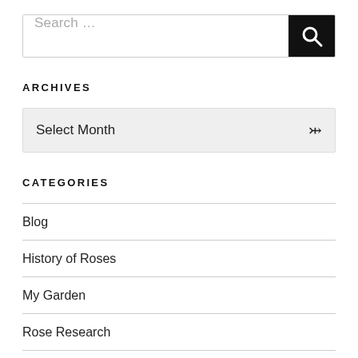[Figure (screenshot): Search bar with text input placeholder 'Search ...' and a black search button with magnifying glass icon]
ARCHIVES
[Figure (screenshot): Dropdown select box with 'Select Month' text and a chevron arrow on the right]
CATEGORIES
Blog
History of Roses
My Garden
Rose Research